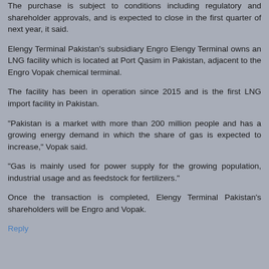The purchase is subject to conditions including regulatory and shareholder approvals, and is expected to close in the first quarter of next year, it said.
Elengy Terminal Pakistan's subsidiary Engro Elengy Terminal owns an LNG facility which is located at Port Qasim in Pakistan, adjacent to the Engro Vopak chemical terminal.
The facility has been in operation since 2015 and is the first LNG import facility in Pakistan.
"Pakistan is a market with more than 200 million people and has a growing energy demand in which the share of gas is expected to increase," Vopak said.
"Gas is mainly used for power supply for the growing population, industrial usage and as feedstock for fertilizers."
Once the transaction is completed, Elengy Terminal Pakistan's shareholders will be Engro and Vopak.
Reply